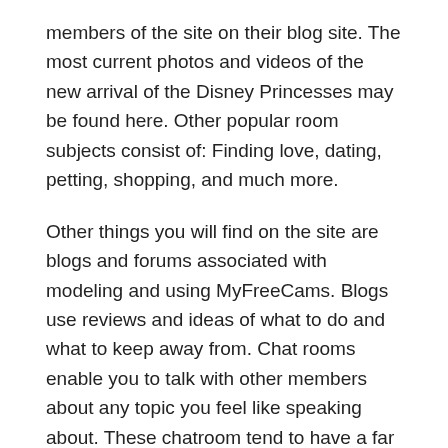members of the site on their blog site. The most current photos and videos of the new arrival of the Disney Princesses may be found here. Other popular room subjects consist of: Finding love, dating, petting, shopping, and much more.
Other things you will find on the site are blogs and forums associated with modeling and using MyFreeCams. Blogs use reviews and ideas of what to do and what to keep away from. Chat rooms enable you to talk with other members about any topic you feel like speaking about. These chatroom tend to have a far more adult tone than the majority of the other sites online.
If you are a camera design and you want to optimize your making possible MyFreeCams permit you to develop a “list” of people that you want to talk with. You can search for other MyFreeCams members in your city and after that search for them by their web cam names. People in your city that have cam names that you have actually signed up can join your list and start chatting with